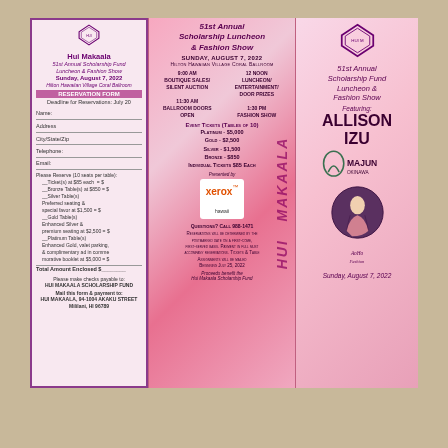[Figure (infographic): Trifold brochure for Hui Makaala 51st Annual Scholarship Fund Luncheon & Fashion Show, Sunday August 7 2022. Left panel: reservation form. Middle panel: event details and ticket prices. Right panel: event title with featured designers Allison Izu and Majun Okinawa.]
HUI MAKAALA
51st Annual Scholarship Fund Luncheon & Fashion Show
Sunday, August 7, 2022
Hilton Hawaiian Village Coral Ballroom
RESERVATION FORM
Deadline for Reservations: July 20
Name:
Address
City/State/Zip
Telephone:
Email:
Please Reserve (10 seats per table):
Ticket(s) at $85 each = $
Bronze Table(s) at $850 = $
Silver Table(s)
Preferred seating & special favor at $1,500 = $
Gold Table(s)
Enhanced Silver & premium seating at $2,500 = $
Platinum Table(s)
Enhanced Gold, valet parking, & complimentary ad in commemorative booklet at $5,000 = $
Total Amount Enclosed $
Please make checks payable to:
HUI MAKAALA SCHOLARSHIP FUND
Mail this form & payment to:
HUI MAKAALA, 94-1004 AKAKU STREET
Mililani, HI 96789
51st Annual Scholarship Luncheon & Fashion Show
SUNDAY, AUGUST 7, 2022
HILTON HAWAIIAN VILLAGE CORAL BALLROOM
9:00 AM BOUTIQUE SALES/SILENT AUCTION
11:30 AM BALLROOM DOORS OPEN
12 NOON LUNCHEON/ENTERTAINMENT/DOOR PRIZES
1:30 PM FASHION SHOW
EVENT TICKETS (TABLES OF 10)
PLATINUM - $5,000
GOLD - $2,500
SILVER - $1,500
BRONZE - $850
INDIVIDUAL TICKETS $85 EACH
Presented by XEROX hawaii
QUESTIONS? CALL 988-1471
RESERVATIONS WILL BE DETERMINED BY THE POSTMARKED DATE ON A FIRST-COME, FIRST-SERVED BASIS. PAYMENT IN FULL MUST ACCOMPANY RESERVATIONS. TICKETS & TABLE ASSIGNMENTS WILL BE MAILED BEGINNING JULY 25, 2022
PROCEEDS BENEFIT THE HUI MAKAALA SCHOLARSHIP FUND
51st Annual Scholarship Fund Luncheon & Fashion Show
Featuring:
ALLISON IZU
MAJUN OKINAWA
Sunday, August 7, 2022